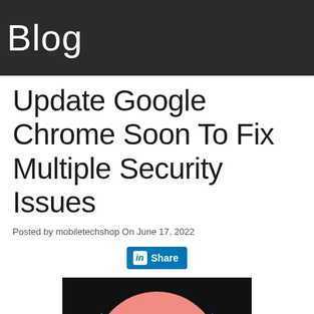Blog
Update Google Chrome Soon To Fix Multiple Security Issues
Posted by mobiletechshop On June 17, 2022
[Figure (other): LinkedIn Share button]
[Figure (illustration): Partial Google Chrome logo on black background]